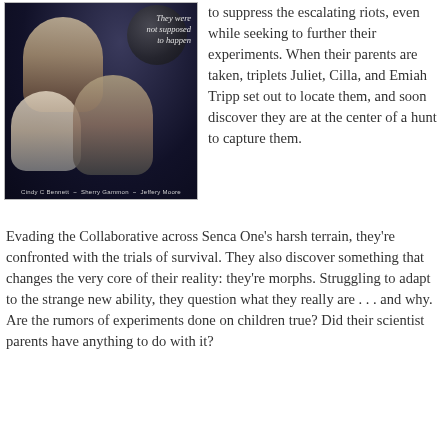[Figure (illustration): Book cover for a sci-fi novel. Dark space background with a planet visible. Three figures: a young blond man at top, a pale woman with light hair at bottom left, and a woman with short blond hair at bottom right. Text reads 'They were not supposed to happen'. Authors listed at bottom: Cindy C Bennett, Sherry Gammon, Jeffery Moore.]
to suppress the escalating riots, even while seeking to further their experiments. When their parents are taken, triplets Juliet, Cilla, and Emiah Tripp set out to locate them, and soon discover they are at the center of a hunt to capture them.
Evading the Collaborative across Senca One's harsh terrain, they're confronted with the trials of survival. They also discover something that changes the very core of their reality: they're morphs. Struggling to adapt to the strange new ability, they question what they really are . . . and why. Are the rumors of experiments done on children true? Did their scientist parents have anything to do with it?